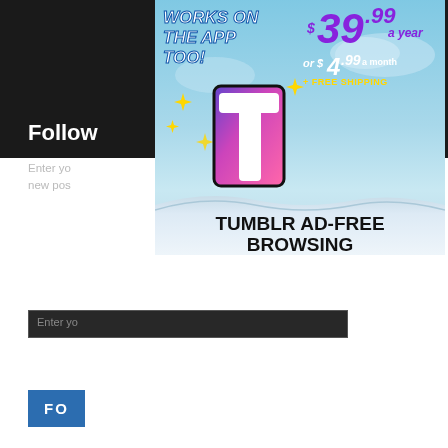[Figure (screenshot): Tumblr ad-free browsing advertisement overlay showing '$39.99 a year or $4.99 a month + FREE SHIPPING' with Tumblr logo and sparkle stars, with 'WORKS ON THE APP TOO!' text and 'TUMBLR AD-FREE BROWSING' at the bottom]
Follow
Enter yo... ntifications of new pos...
Enter yo...
FO...
Join 402 other followers
REPORT THIS AD
Privacy & Cookies: This site uses cookies. By continuing to use this website, you agree to their use.
To find out more, including how to control cookies, see here: Cookie Policy
Close and accept
DuckDuckGo...